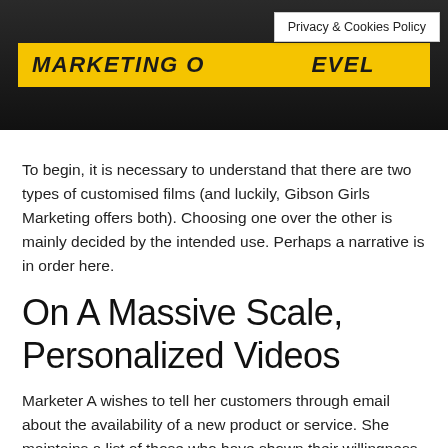[Figure (photo): Marketing banner image with yellow bar showing 'MARKETING O...EVEL' text in bold italic black on yellow background, against a dark background. A 'Privacy & Cookies Policy' badge overlays the top right.]
To begin, it is necessary to understand that there are two types of customised films (and luckily, Gibson Girls Marketing offers both). Choosing one over the other is mainly decided by the intended use. Perhaps a narrative is in order here.
On A Massive Scale, Personalized Videos
Marketer A wishes to tell her customers through email about the availability of a new product or service. She maintains a list of those who have shown their willingness to receive her updates.